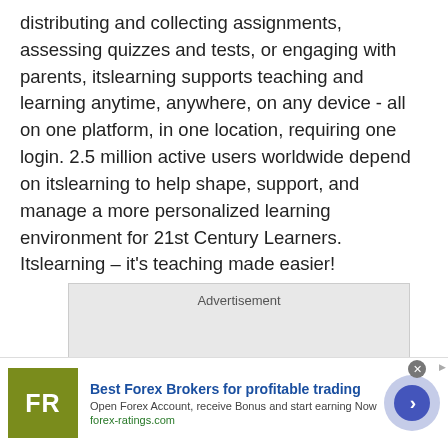distributing and collecting assignments, assessing quizzes and tests, or engaging with parents, itslearning supports teaching and learning anytime, anywhere, on any device - all on one platform, in one location, requiring one login. 2.5 million active users worldwide depend on itslearning to help shape, support, and manage a more personalized learning environment for 21st Century Learners. Itslearning – it's teaching made easier!
[Figure (other): Advertisement placeholder box with label 'Advertisement']
[Figure (infographic): Promotional banner: Best Forex Brokers for profitable trading. FR logo in olive/yellow-green square. Text: Open Forex Account, receive Bonus and start earning Now. forex-ratings.com. Blue circular arrow button on right.]